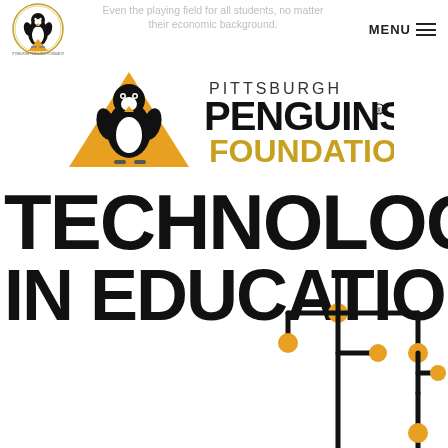Even the playing field for all students, no matter their economic background. MENU
[Figure (logo): Pittsburgh Penguins Foundation logo - penguin mascot in yellow/black triangle with circular border]
[Figure (logo): Pittsburgh Penguins Foundation text logo with penguin mascot and gold/black text reading PITTSBURGH PENGUINS FOUNDATION]
TECHNOLOGY IN EDUCATION
[Figure (illustration): Circuit board trace decoration with yellow dots at connection points, extending from bottom of EDUCATION text]